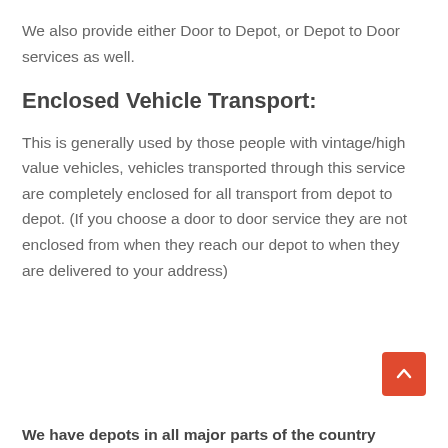We also provide either Door to Depot, or Depot to Door services as well.
Enclosed Vehicle Transport:
This is generally used by those people with vintage/high value vehicles, vehicles transported through this service are completely enclosed for all transport from depot to depot. (If you choose a door to door service they are not enclosed from when they reach our depot to when they are delivered to your address)
We have depots in all major parts of the country